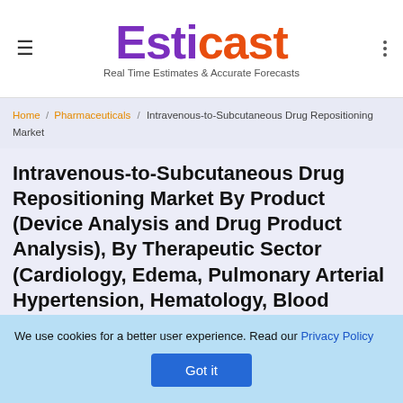Esticast — Real Time Estimates & Accurate Forecasts
Home / Pharmaceuticals / Intravenous-to-Subcutaneous Drug Repositioning Market
Intravenous-to-Subcutaneous Drug Repositioning Market By Product (Device Analysis and Drug Product Analysis), By Therapeutic Sector (Cardiology, Edema, Pulmonary Arterial Hypertension, Hematology, Blood Factors, and Oncology), By Technology
We use cookies for a better user experience. Read our Privacy Policy  Got it